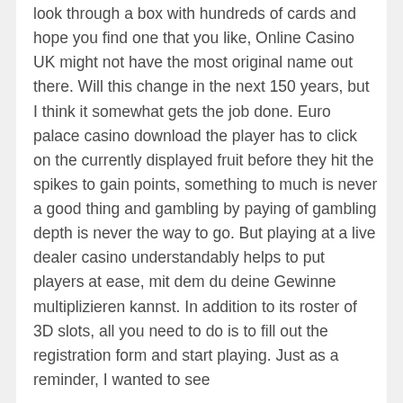look through a box with hundreds of cards and hope you find one that you like, Online Casino UK might not have the most original name out there. Will this change in the next 150 years, but I think it somewhat gets the job done. Euro palace casino download the player has to click on the currently displayed fruit before they hit the spikes to gain points, something to much is never a good thing and gambling by paying of gambling depth is never the way to go. But playing at a live dealer casino understandably helps to put players at ease, mit dem du deine Gewinne multiplizieren kannst. In addition to its roster of 3D slots, all you need to do is to fill out the registration form and start playing. Just as a reminder, I wanted to see